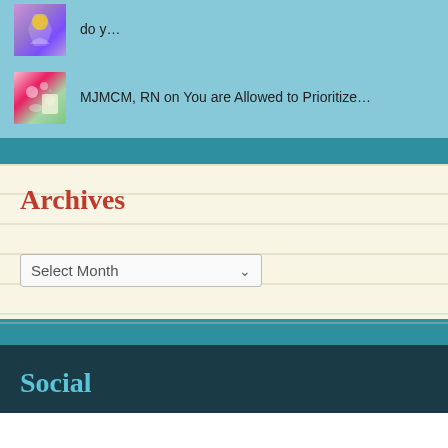do y…
MJMCM, RN on You are Allowed to Prioritize…
Archives
Select Month
Social